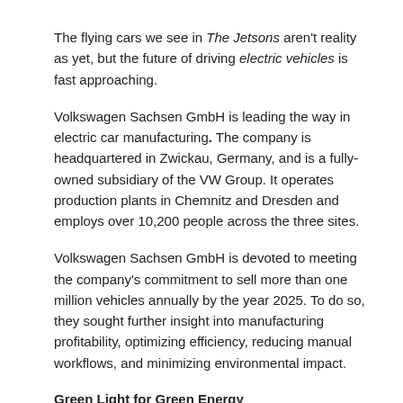The flying cars we see in The Jetsons aren't reality as yet, but the future of driving electric vehicles is fast approaching.
Volkswagen Sachsen GmbH is leading the way in electric car manufacturing. The company is headquartered in Zwickau, Germany, and is a fully-owned subsidiary of the VW Group. It operates production plants in Chemnitz and Dresden and employs over 10,200 people across the three sites.
Volkswagen Sachsen GmbH is devoted to meeting the company's commitment to sell more than one million vehicles annually by the year 2025. To do so, they sought further insight into manufacturing profitability, optimizing efficiency, reducing manual workflows, and minimizing environmental impact.
Green Light for Green Energy